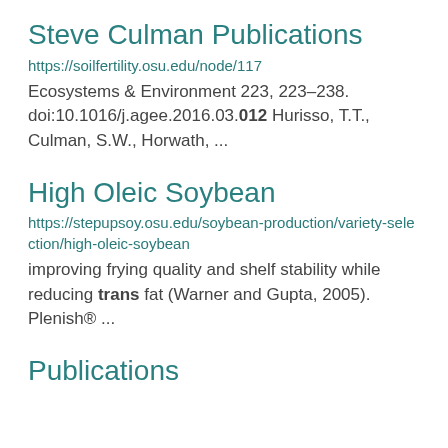Steve Culman Publications
https://soilfertility.osu.edu/node/117
Ecosystems & Environment 223, 223–238. doi:10.1016/j.agee.2016.03.012 Hurisso, T.T., Culman, S.W., Horwath, ...
High Oleic Soybean
https://stepupsoy.osu.edu/soybean-production/variety-selection/high-oleic-soybean
improving frying quality and shelf stability while reducing trans fat (Warner and Gupta, 2005). Plenish® ...
Publications